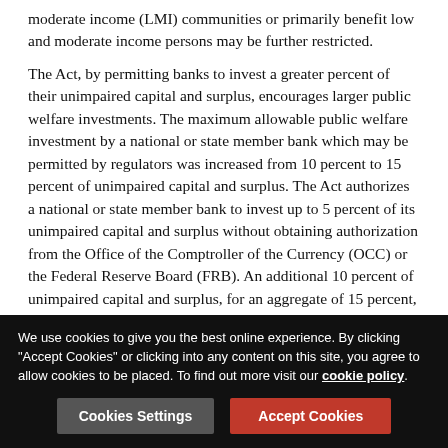moderate income (LMI) communities or primarily benefit low and moderate income persons may be further restricted.
The Act, by permitting banks to invest a greater percent of their unimpaired capital and surplus, encourages larger public welfare investments. The maximum allowable public welfare investment by a national or state member bank which may be permitted by regulators was increased from 10 percent to 15 percent of unimpaired capital and surplus. The Act authorizes a national or state member bank to invest up to 5 percent of its unimpaired capital and surplus without obtaining authorization from the Office of the Comptroller of the Currency (OCC) or the Federal Reserve Board (FRB). An additional 10 percent of unimpaired capital and surplus, for an aggregate of 15 percent, may be invested after the OCC or FRB determines that (1) the higher amount poses no significant risk to the affected bank institution or fund and (2) the bank is
We use cookies to give you the best online experience. By clicking "Accept Cookies" or clicking into any content on this site, you agree to allow cookies to be placed. To find out more visit our cookie policy.